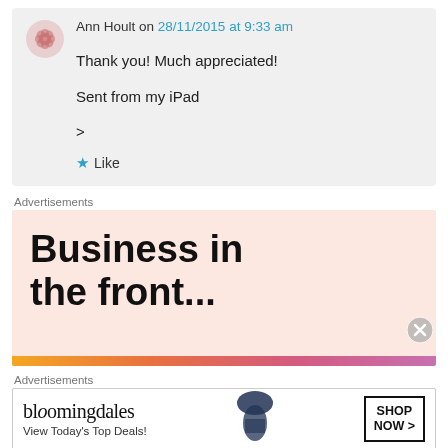Ann Hoult on 28/11/2015 at 9:33 am
Thank you! Much appreciated!
Sent from my iPad
>
Like
Advertisements
[Figure (screenshot): Advertisement banner: 'Business in the front...' with gradient bar at bottom]
Advertisements
[Figure (screenshot): Bloomingdale's ad: 'View Today's Top Deals!' with 'SHOP NOW >' button]